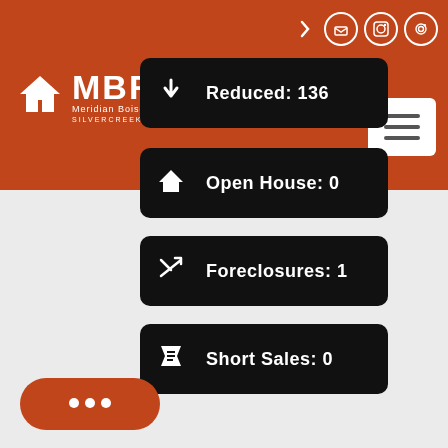MBRE Meridian Boise Real Estate SILVERCREEK REALTY GROUP
Reduced: 136
Open House: 0
Foreclosures: 1
Short Sales: 0